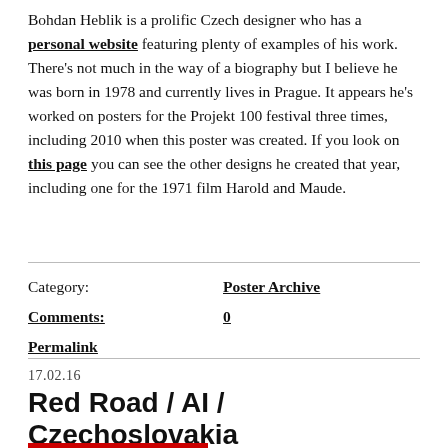Bohdan Heblik is a prolific Czech designer who has a personal website featuring plenty of examples of his work. There's not much in the way of a biography but I believe he was born in 1978 and currently lives in Prague. It appears he's worked on posters for the Projekt 100 festival three times, including 2010 when this poster was created. If you look on this page you can see the other designs he created that year, including one for the 1971 film Harold and Maude.
| Category: | Poster Archive |
| Comments: | 0 |
| Permalink |  |
17.02.16
Red Road / AI / Czechoslovakia